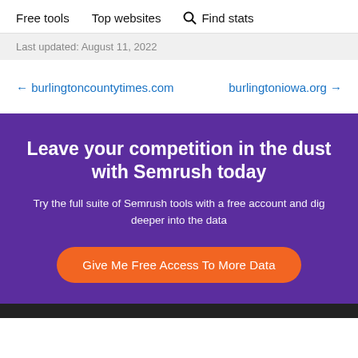Free tools   Top websites   🔍 Find stats
Last updated: August 11, 2022
← burlingtoncountytimes.com   burlingtoniowa.org →
Leave your competition in the dust with Semrush today
Try the full suite of Semrush tools with a free account and dig deeper into the data
Give Me Free Access To More Data